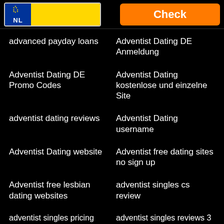[Figure (other): Netherlands license plate logo with EU stars and NL text on blue/yellow background, alongside an orange Check button]
advanced payday loans
Adventist Dating DE Anmeldung
Adventist Dating DE Promo Codes
Adventist Dating kostenlose und einzelne Site
adventist dating reviews
Adventist Dating username
Adventist Dating website
Adventist free dating sites no sign up
Adventist free lesbian dating websites
adventist singles cs review
adventist singles pricing
adventist singles reviews 3